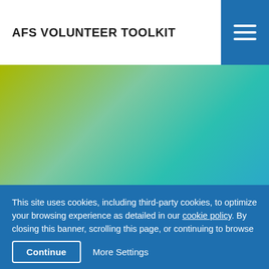AFS VOLUNTEER TOOLKIT
[Figure (screenshot): Yellow-green to teal gradient banner image area]
This site uses cookies, including third-party cookies, to optimize your browsing experience as detailed in our cookie policy. By closing this banner, scrolling this page, or continuing to browse otherwise, you agree to the use of cookies. If you want to withdraw your consent to all or some of the cookies please click here.
Continue   More Settings